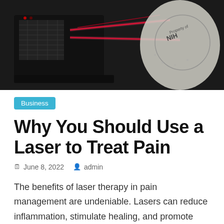[Figure (photo): A laser therapy device emitting red laser beams onto what appears to be a patient, with an NIH property stamp visible on fabric in the background. The device is black with a mesh panel, set against a dark background.]
Business
Why You Should Use a Laser to Treat Pain
June 8, 2022   admin
The benefits of laser therapy in pain management are undeniable. Lasers can reduce inflammation, stimulate healing, and promote relaxation. They also have no side effects and can be used in conjunction with other treatments such as physical